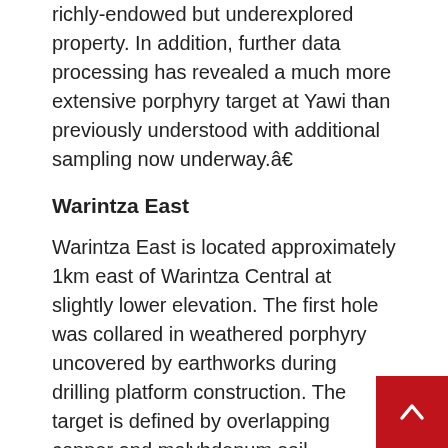richly-endowed but underexplored property. In addition, further data processing has revealed a much more extensive porphyry target at Yawi than previously understood with additional sampling now underway.â€
Warintza East
Warintza East is located approximately 1km east of Warintza Central at slightly lower elevation. The first hole was collared in weathered porphyry uncovered by earthworks during drilling platform construction. The target is defined by overlapping copper and molybdenum soil anomalies associated with an underlying high-conductivity anomaly.
Yawi
The Yawi target was first identified by processi geophysical data covering the 5km strike of the